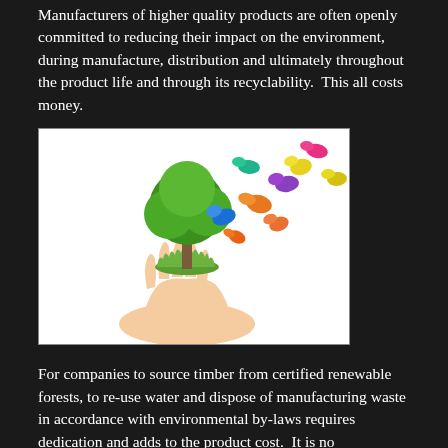Manufacturers of higher quality products are often openly committed to reducing their impact on the environment, during manufacture, distribution and ultimately throughout the product life and through its recyclability.  This all costs money.
[Figure (illustration): A hand holding a small green tree with colorful butterflies flying around it against a white background.]
For companies to source timber from certified renewable forests, to re-use water and dispose of manufacturing waste in accordance with environmental by-laws requires dedication and adds to the product cost.  It is no coincidence that countries supplying cheaply made goods generally have